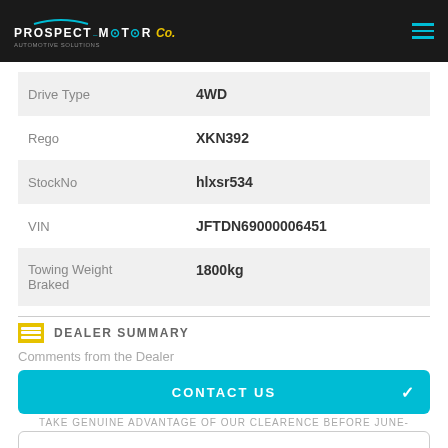PROSPECT MOTOR Co.
| Field | Value |
| --- | --- |
| Drive Type | 4WD |
| Rego | XKN392 |
| StockNo | hlxsr534 |
| VIN | JFTDN69000006451 |
| Towing Weight Braked | 1800kg |
DEALER SUMMARY
Comments from the Dealer
CONTACT US
TAKE GENUINE ADVANTAGE OF OUR CLEARENCE BEFORE JUNE-
FINANCE THIS VEHICLE